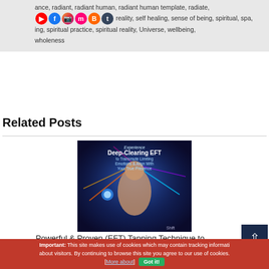ance, radiant, radiant human, radiant human template, radiate, reality, self healing, sense of being, spiritual, spa, spiritual practice, spiritual reality, Universe, wellbeing, wholeness
Related Posts
[Figure (illustration): Promotional image for 'Experience Deep-Clearing EFT to Transmute Limiting Emotions & Align With Your True Presence' - shows a woman with colorful energy emanating from her head, branded by Shift]
Powerful & Proven (EFT) Tapping Technique to Quickly Transform Emotions
Important: This site makes use of cookies which may contain tracking information about visitors. By continuing to browse this site you agree to our use of cookies. [ More about ] Got it!